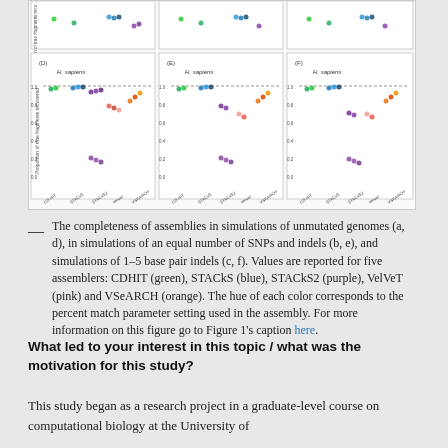[Figure (continuous-plot): Six scatter plots (D, E, F) showing proportion of true fragments recovered for H. sapiens across five assemblers: CDHIT (green), STACkS (blue), STACkS2 (purple), VelVeT (pink), and VSeARCH (orange). Bottom row panels D, E, F with x-axis labels: CD-HIT, STACkS, STACkS2, Velvet, VSEARCH.]
The completeness of assemblies in simulations of unmutated genomes (a, d), in simulations of an equal number of SNPs and indels (b, e), and simulations of 1–5 base pair indels (c, f). Values are reported for five assemblers: CDHIT (green), STACkS (blue), STACkS2 (purple), VelVeT (pink) and VSeARCH (orange). The hue of each color corresponds to the percent match parameter setting used in the assembly. For more information on this figure go to Figure 1's caption here.
What led to your interest in this topic / what was the motivation for this study?
This study began as a research project in a graduate-level course on computational biology at the University of